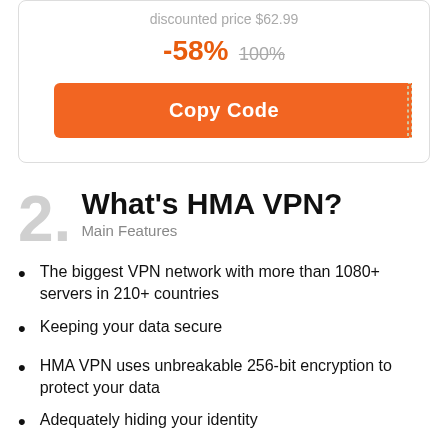discounted price $62.99
-58% 100%
Copy Code
2. What's HMA VPN? Main Features
The biggest VPN network with more than 1080+ servers in 210+ countries
Keeping your data secure
HMA VPN uses unbreakable 256-bit encryption to protect your data
Adequately hiding your identity